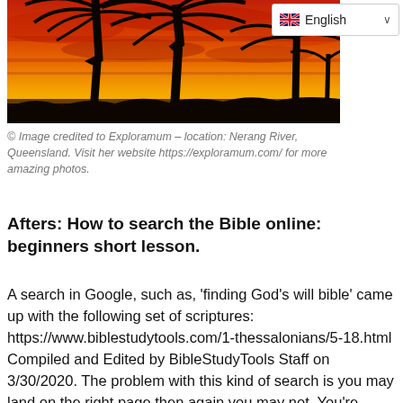[Figure (photo): A vivid tropical sunset photograph showing silhouettes of palm trees against a fiery red, orange, and yellow sky. The Nerang River in Queensland, Australia is depicted.]
© Image credited to Exploramum – location: Nerang River, Queensland. Visit her website https://exploramum.com/ for more amazing photos.
Afters: How to search the Bible online: beginners short lesson.
A search in Google, such as, 'finding God's will bible' came up with the following set of scriptures: https://www.biblestudytools.com/1-thessalonians/5-18.html Compiled and Edited by BibleStudyTools Staff on 3/30/2020. The problem with this kind of search is you may land on the right page then again you may not. You're winging it. You don't